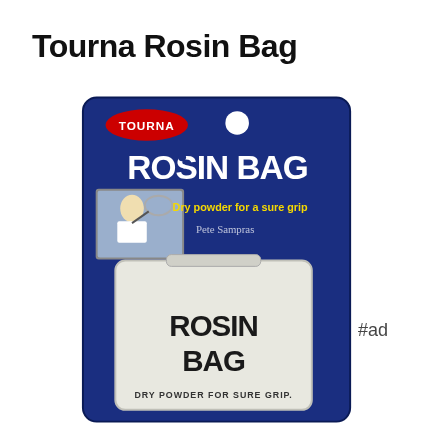Tourna Rosin Bag
[Figure (photo): Product image of Tourna Rosin Bag packaging. Blue card packaging with TOURNA logo in red oval, large white ROSIN BAG text, a tennis player photo, 'Dry powder for a sure grip' in yellow text, and a white fabric bag labeled ROSIN BAG with DRY POWDER FOR SURE GRIP.]
#ad